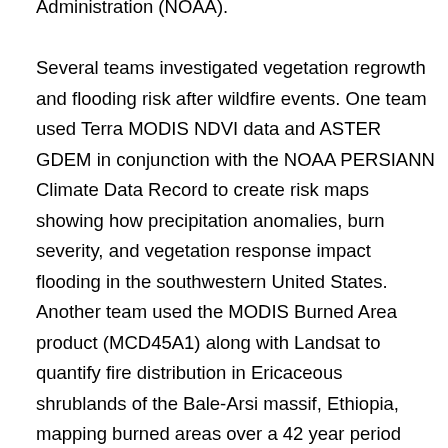Administration (NOAA). Several teams investigated vegetation regrowth and flooding risk after wildfire events. One team used Terra MODIS NDVI data and ASTER GDEM in conjunction with the NOAA PERSIANN Climate Data Record to create risk maps showing how precipitation anomalies, burn severity, and vegetation response impact flooding in the southwestern United States. Another team used the MODIS Burned Area product (MCD45A1) along with Landsat to quantify fire distribution in Ericaceous shrublands of the Bale-Arsi massif, Ethiopia, mapping burned areas over a 42 year period (1973-2015). The team's findings improved the understanding of past fire extent, which will inform future conservation efforts by The Murulle Foundation and its partners in Ethiopia. Another team created a risk map of potential wildfire areas across Texas. The map